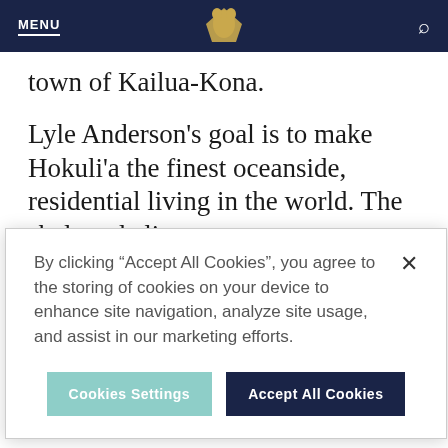MENU
town of Kailua-Kona.
Lyle Anderson's goal is to make Hokuli'a the finest oceanside, residential living in the world. The sheltered climate
By clicking “Accept All Cookies”, you agree to the storing of cookies on your device to enhance site navigation, analyze site usage, and assist in our marketing efforts.